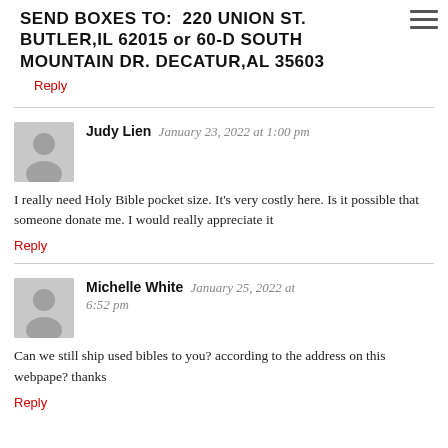SEND BOXES TO: 220 UNION ST. BUTLER,IL 62015 OR 60-D SOUTH MOUNTAIN DR. DECATUR,AL 35603
Reply
Judy Lien  January 23, 2022 at 1:00 pm
I really need Holy Bible pocket size. It's very costly here. Is it possible that someone donate me. I would really appreciate it
Reply
Michelle White  January 25, 2022 at 6:52 pm
Can we still ship used bibles to you? according to the address on this webpape? thanks
Reply